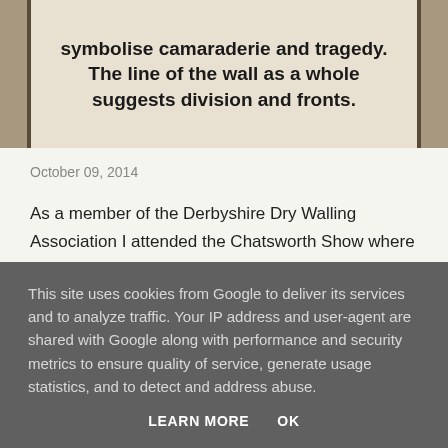[Figure (photo): Image of a wall with text overlay showing bold text about camaraderie, tragedy, and division]
symbolise camaraderie and tragedy. The line of the wall as a whole suggests division and fronts.
October 09, 2014
As a member of the Derbyshire Dry Walling Association I attended the Chatsworth Show where we built a beautiful wall commemorating the wallers who left the hills and Dales to fight in WW1
SHARE  POST A COMMENT  READ MORE
This site uses cookies from Google to deliver its services and to analyze traffic. Your IP address and user-agent are shared with Google along with performance and security metrics to ensure quality of service, generate usage statistics, and to detect and address abuse.
LEARN MORE  OK